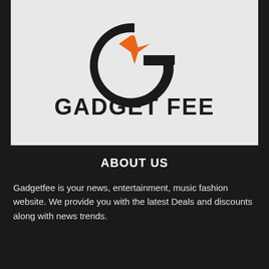[Figure (logo): Gadget Fee logo: a stylized letter G in black with an orange 4-pointed star in the center, and the text GADGET FEE in bold black below]
ABOUT US
Gadgetfee is your news, entertainment, music fashion website. We provide you with the latest Deals and discounts along with news trends.